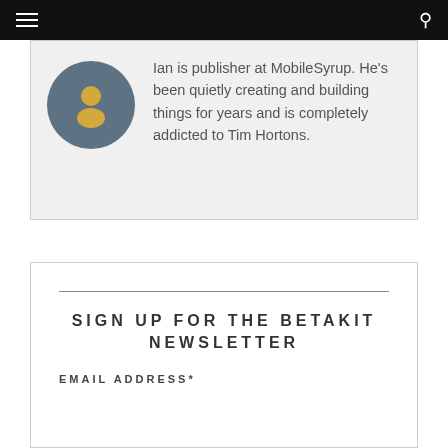Ian is publisher at MobileSyrup. He's been quietly creating and building things for years and is completely addicted to Tim Hortons.
SIGN UP FOR THE BETAKIT NEWSLETTER
EMAIL ADDRESS*